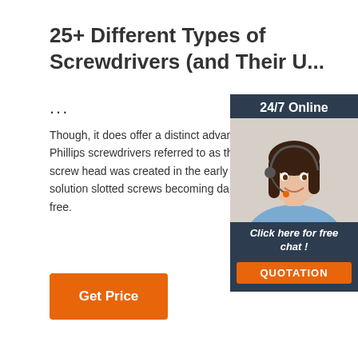25+ Different Types of Screwdrivers (and Their U...
...
Though, it does offer a distinct advantage on slippage – more so than Phillips screwdrivers referred to as the 'square recess screw,' this shaped screw head was created in the early an inventor in Canada who wanted a solution slotted screws becoming damaged each time screwdriver slipped free.
[Figure (photo): Customer service representative woman with headset, 24/7 Online widget with QUOTATION button]
Get Price